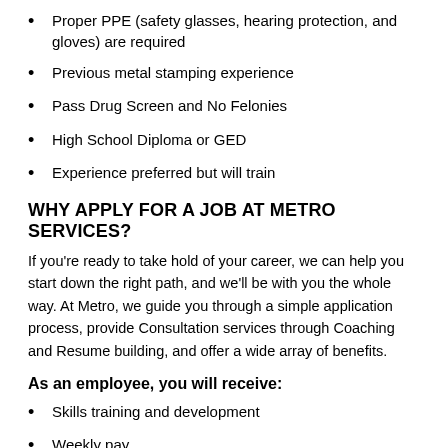Proper PPE (safety glasses, hearing protection, and gloves) are required
Previous metal stamping experience
Pass Drug Screen and No Felonies
High School Diploma or GED
Experience preferred but will train
WHY APPLY FOR A JOB AT METRO SERVICES?
If you're ready to take hold of your career, we can help you start down the right path, and we'll be with you the whole way. At Metro, we guide you through a simple application process, provide Consultation services through Coaching and Resume building, and offer a wide array of benefits.
As an employee, you will receive:
Skills training and development
Weekly pay
Direct deposit or pay cards